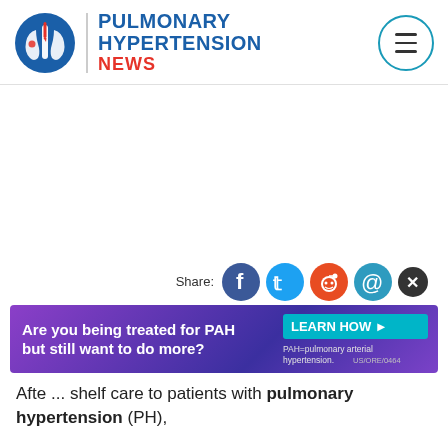[Figure (logo): Pulmonary Hypertension News logo with lungs icon and site name]
[Figure (infographic): Social share icons: Facebook (blue), Twitter (cyan), Reddit (orange), Email (teal), and close button]
[Figure (infographic): Advertisement banner: 'Are you being treated for PAH but still want to do more?' with LEARN HOW button. PAH=pulmonary arterial hypertension. US/ORE/0464]
After ... shelf care to patients with pulmonary hypertension (PH),